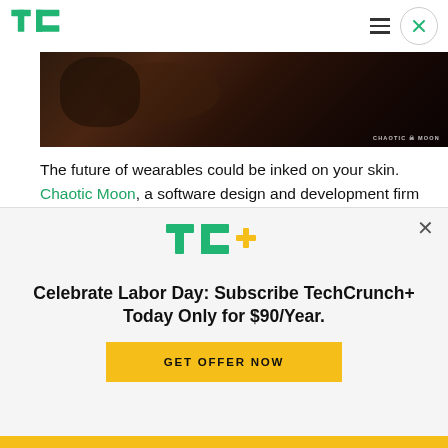TechCrunch logo, hamburger menu, close button
[Figure (photo): Dark photo of a person with Chaotic Moon watermark in bottom right corner]
The future of wearables could be inked on your skin. Chaotic Moon, a software design and development firm based in Austin, Texas, is developing a high-tech tattoo made of components and conductive paint to create circuitry to basically
[Figure (logo): TC+ TechCrunch Plus logo in green and yellow]
Celebrate Labor Day: Subscribe TechCrunch+ Today Only for $90/Year.
GET OFFER NOW